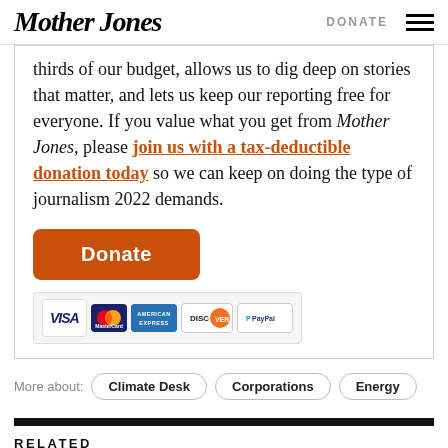Mother Jones | DONATE
thirds of our budget, allows us to dig deep on stories that matter, and lets us keep our reporting free for everyone. If you value what you get from Mother Jones, please join us with a tax-deductible donation today so we can keep on doing the type of journalism 2022 demands.
[Figure (other): Donate button (orange, rounded rectangle) with payment method icons: VISA, MasterCard, American Express, Discover, PayPal]
More about: Climate Desk  Corporations  Energy
RELATED